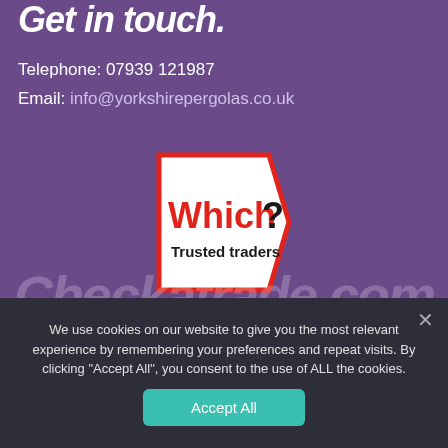Get in touch.
Telephone: 07939 121987
Email: info@yorkshirepergolas.co.uk
[Figure (logo): Which? Trusted traders logo — white pentagon-shaped badge with red border, red 'Which?' text and black 'Trusted traders' text below]
Checkatrade.com
We use cookies on our website to give you the most relevant experience by remembering your preferences and repeat visits. By clicking "Accept All", you consent to the use of ALL the cookies.
Accept All